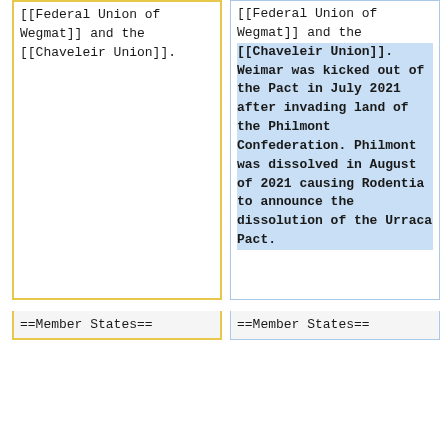[[Federal Union of Wegmat]] and the [[Chaveleir Union]].
[[Federal Union of Wegmat]] and the [[Chaveleir Union]]. Weimar was kicked out of the Pact in July 2021 after invading land of the Philmont Confederation. Philmont was dissolved in August of 2021 causing Rodentia to announce the dissolution of the Urraca Pact.
==Member States==
==Member States==